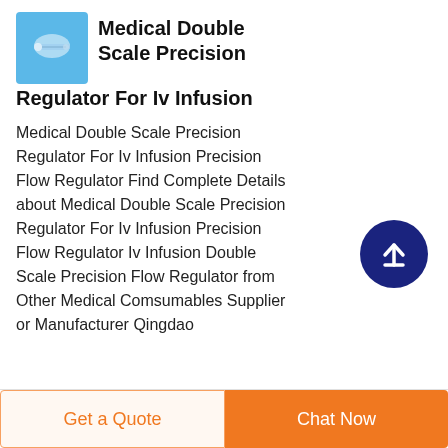[Figure (photo): Product image of medical IV infusion precision flow regulator on light blue background]
Medical Double Scale Precision Regulator For Iv Infusion
Medical Double Scale Precision Regulator For Iv Infusion Precision Flow Regulator Find Complete Details about Medical Double Scale Precision Regulator For Iv Infusion Precision Flow Regulator Iv Infusion Double Scale Precision Flow Regulator from Other Medical Comsumables Supplier or Manufacturer Qingdao